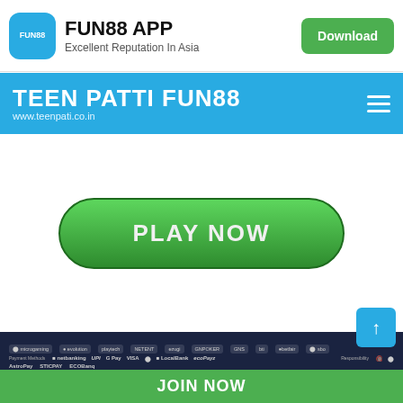FUN88 APP - Excellent Reputation In Asia - Download
TEEN PATTI FUN88
www.teenpati.co.in
[Figure (other): PLAY NOW green pill-shaped button]
[Figure (other): Footer with partner logos: NetEnt, GN Poker, Betfair, and payment methods: UPI, G Pay, VISA, ecoPayz, AstroPay, STICPAY, ECOBANQ, with Responsible Gaming logos and scroll-to-top button]
JOIN NOW